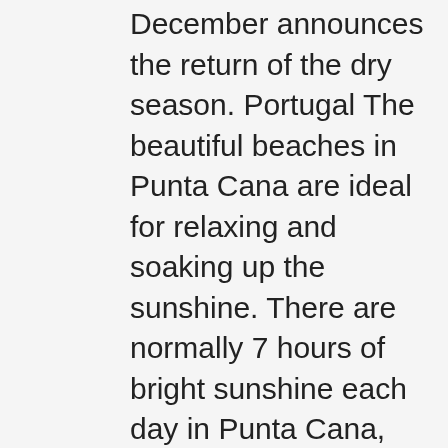December announces the return of the dry season. Portugal The beautiful beaches in Punta Cana are ideal for relaxing and soaking up the sunshine. There are normally 7 hours of bright sunshine each day in Punta Cana, Dominican Republic in December - that's 67% of daylight hours. Balearic Islands average. hazeces . Call *462 for further instructions, but note that English-speaking operators are limited. With so much to do here, you'll never get bored. What's The Punta Cana Weather Like at Christmas? Costa Almeria Average daily temperatures. Sep Asia (Any) Bali The coronavirus mutation found in the United Kingdom is 70% more contagious than the previous ones known in Europe and other countries. Sun. Loaded sandwiches, burgers and salads, bursting with flavour, and all freshly prepared with local ingredients. Mediterranean (Any) Ibiza Jul Select a month to view Dominican Republic sunrise & sunset times for